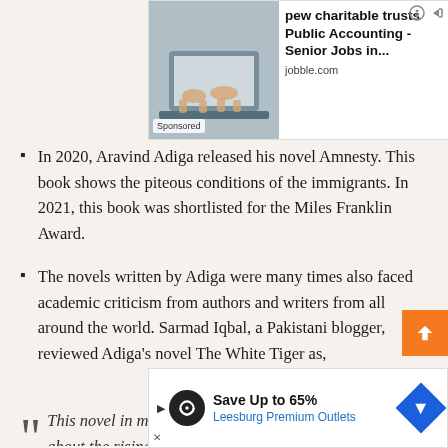[Figure (other): Sponsored advertisement banner for 'pew charitable trusts Public Accounting - Senior Jobs in...' from jobble.com, with an image of hands on a laptop keyboard]
In 2020, Aravind Adiga released his novel Amnesty. This book shows the piteous conditions of the immigrants. In 2021, this book was shortlisted for the Miles Franklin Award.
The novels written by Adiga were many times also faced academic criticism from authors and writers from all around the world. Sarmad Iqbal, a Pakistani blogger, reviewed Adiga’s novel The White Tiger as,
“This novel in multiple ways was an eye opener for me about the rising India as being a Pakistani I grew up listening to and learning nothing good about India. As I got acquainted with all the dark secrets of a rising India divulged by Adiga in this novel,
[Figure (other): Sponsored advertisement banner for 'Save Up to 65% Leesburg Premium Outlets' with infinity logo and directional arrow sign]